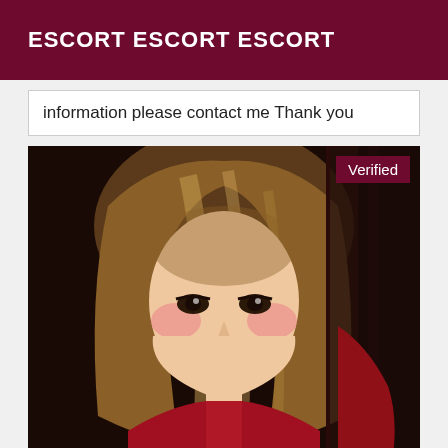ESCORT ESCORT ESCORT
information please contact me Thank you
[Figure (photo): Portrait photo of a woman with long blonde hair wearing a red outfit. A 'Verified' badge appears in the top-right corner of the image.]